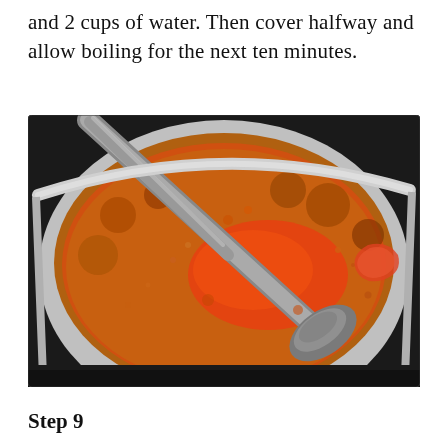and 2 cups of water. Then cover halfway and allow boiling for the next ten minutes.
[Figure (photo): A large silver cooking pot on a stovetop containing a bubbling orange-red tomato-based mixture with ground meat/grains being stirred with a metal spoon/spatula.]
Step 9